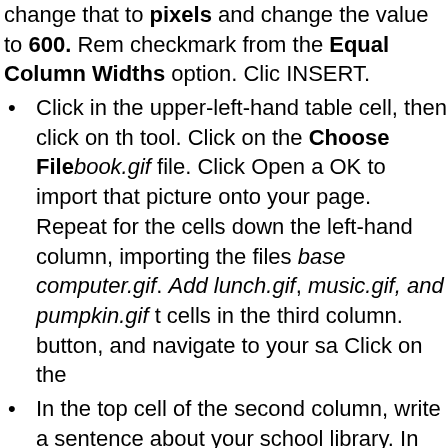change that to pixels and change the value to 600. Remove the checkmark from the Equal Column Widths option. Click INSERT.
Click in the upper-left-hand table cell, then click on the tool. Click on the Choose File book.gif file. Click Open and OK to import that picture onto your page. Repeat for the cells down the left-hand column, importing the files base computer.gif. Add lunch.gif, music.gif, and pumpkin.gif to cells in the third column. button, and navigate to your sa Click on the
In the top cell of the second column, write a sentence about your school library. In the second cell, write about sports, in the third, about technology at your school. In the hand column, write about nutrition, the music and art pro and about student writing and art.
Click on the book picture, then on the Link tool (#2) following fictitious web address for the link: http://myschool.vsb.bc.ca/library and click OK (or enter a address of your choice!). Save and Preview in Browser. You'll see a blue border around the picture. Return to Co
Highlight a word or two in the cell describing the library click on the Link tool , and enter the same address. Click Note that the text is now underlined. This is why you should use underlined text when designing a web page—it will be mistaken for a link. Note that the links do not work when